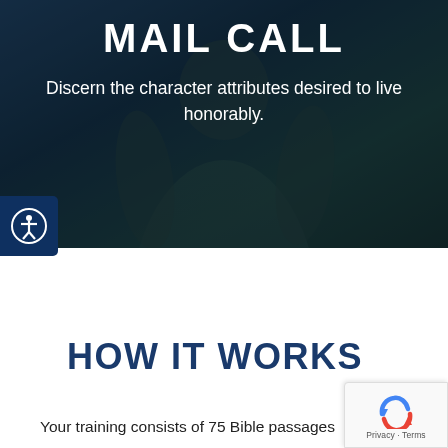[Figure (photo): Dark hero image of a person in military-style clothing with a dark blue-green overlay background]
MAIL CALL
Discern the character attributes desired to live honorably.
HOW IT WORKS
Your training consists of 75 Bible passages